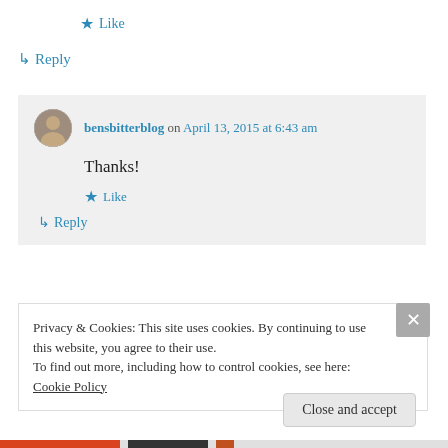★ Like
↳ Reply
bensbitterblog on April 13, 2015 at 6:43 am
Thanks!
★ Like
↳ Reply
Privacy & Cookies: This site uses cookies. By continuing to use this website, you agree to their use.
To find out more, including how to control cookies, see here: Cookie Policy
Close and accept